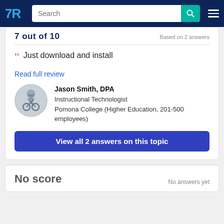TrustRadius - Search
7 out of 10 | Based on 2 answers
Just download and install
Read full review
Jason Smith, DPA
Instructional Technologist
Pomona College (Higher Education, 201-500 employees)
View all 2 answers on this topic
No score | No answers yet